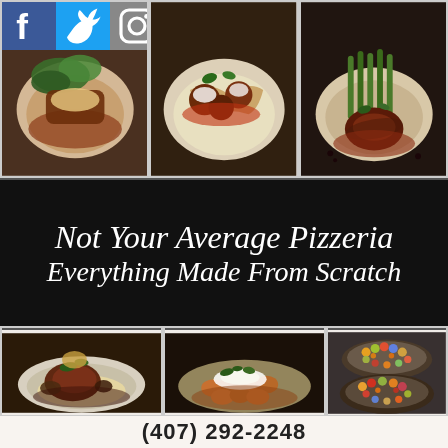[Figure (photo): Social media icons: Facebook (blue f), Twitter (blue bird), Instagram (camera icon) in colored square tiles]
[Figure (photo): Three food photos in a horizontal strip: left - meat dish with broccoli rabe in brown sauce; center - meatballs with mozzarella and pasta; right - filet with asparagus in brown sauce]
Not Your Average Pizzeria
Everything Made From Scratch
[Figure (photo): Three food photos in a horizontal strip: left - braised meat with mushrooms and gravy; center - gnocchi or dumplings with ricotta and herbs; right - two decorative platters of colorful bite-sized desserts or appetizers]
(407) 292-2248